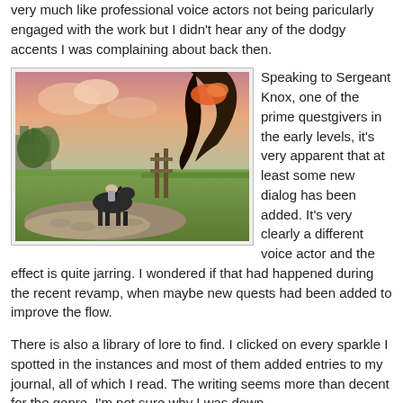very much like professional voice actors not being paricularly engaged with the work but I didn't hear any of the dodgy accents I was complaining about back then.
[Figure (screenshot): Screenshot from a video game showing a player character riding a dark horse along a cobblestone path through a grassy landscape, with castle ruins and dramatic pink/orange sky in the background. A large dark creature or structure is visible on the right.]
Speaking to Sergeant Knox, one of the prime questgivers in the early levels, it's very apparent that at least some new dialog has been added. It's very clearly a different voice actor and the effect is quite jarring. I wondered if that had happened during the recent revamp, when maybe new quests had been added to improve the flow.
There is also a library of lore to find. I clicked on every sparkle I spotted in the instances and most of them added entries to my journal, all of which I read. The writing seems more than decent for the genre. I'm not sure why I was down